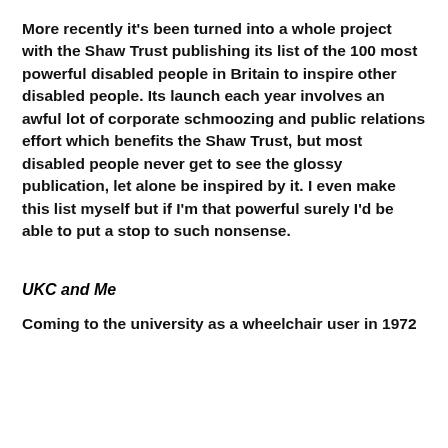More recently it's been turned into a whole project with the Shaw Trust publishing its list of the 100 most powerful disabled people in Britain to inspire other disabled people. Its launch each year involves an awful lot of corporate schmoozing and public relations effort which benefits the Shaw Trust, but most disabled people never get to see the glossy publication, let alone be inspired by it. I even make this list myself but if I'm that powerful surely I'd be able to put a stop to such nonsense.
UKC and Me
Coming to the university as a wheelchair user in 1972